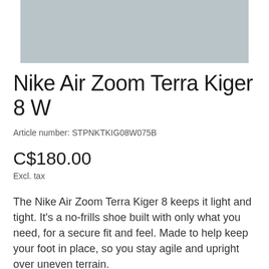[Figure (photo): Product image of Nike Air Zoom Terra Kiger 8 W shoe, partially visible at top of page with grey/silver background]
Nike Air Zoom Terra Kiger 8 W
Article number: STPNKTKIG08W075B
C$180.00
Excl. tax
The Nike Air Zoom Terra Kiger 8 keeps it light and tight. It's a no-frills shoe built with only what you need, for a secure fit and feel. Made to help keep your foot in place, so you stay agile and upright over uneven terrain.